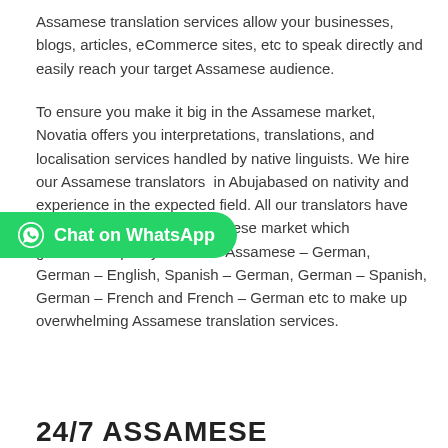Assamese translation services allow your businesses, blogs, articles, eCommerce sites, etc to speak directly and easily reach your target Assamese audience.
To ensure you make it big in the Assamese market, Novatia offers you interpretations, translations, and localisation services handled by native linguists. We hire our Assamese translators in Abujabased on nativity and experience in the expected field. All our translators have prior knowledge of the Assamese market which guarantees quality. We offer Assamese – German, German – English, Spanish – German, German – Spanish, German – French and French – German etc to make up overwhelming Assamese translation services.
[Figure (other): Green WhatsApp chat button with WhatsApp logo icon and text 'Chat on WhatsApp']
24/7 ASSAMESE